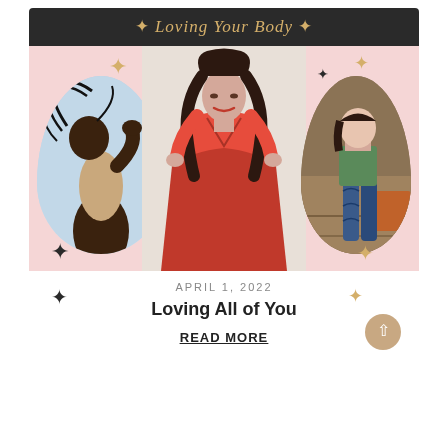✦ Loving Your Body ✦
[Figure (photo): Collage of three women in a body-positive fashion editorial. Left: Black woman in beige bodysuit with hair flying, joyful pose against light blue background. Center: Plus-size woman in red wrap dress with dark hair. Right: Woman in patterned leggings in a room/gym setting, shown in an arch-shaped frame. Background is blush pink with gold and black sparkle decorations.]
APRIL 1, 2022
Loving All of You
READ MORE